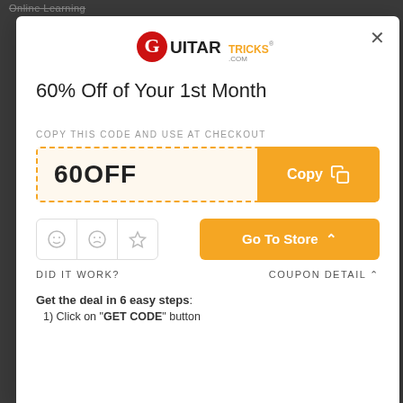Online Learning
[Figure (logo): GuitarTricks.com logo with stylized G in red circle and orange/dark text]
60% Off of Your 1st Month
COPY THIS CODE AND USE AT CHECKOUT
60OFF
Copy
Go To Store ^
DID IT WORK?
COUPON DETAIL ^
Get the deal in 6 easy steps:
1) Click on "GET CODE" button